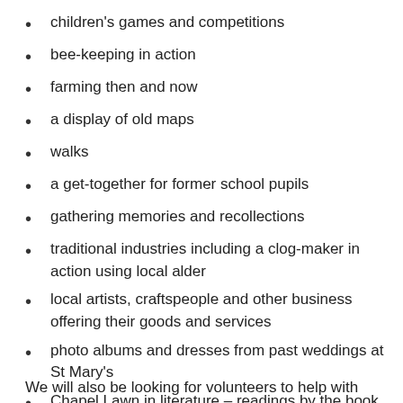children's games and competitions
bee-keeping in action
farming then and now
a display of old maps
walks
a get-together for former school pupils
gathering memories and recollections
traditional industries including a clog-maker in action using local alder
local artists, craftspeople and other business offering their goods and services
photo albums and dresses from past weddings at St Mary's
Chapel Lawn in literature – readings by the book group
We will also be looking for volunteers to help with